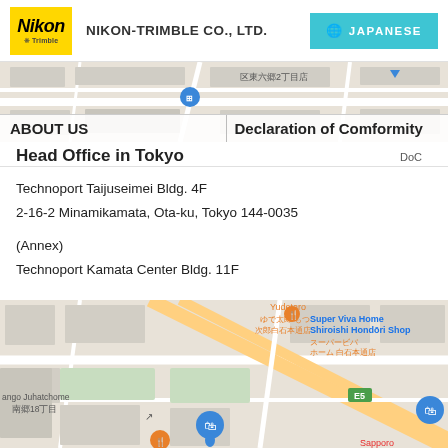[Figure (screenshot): Nikon-Trimble website header with Nikon logo, company name, and Japanese language button]
[Figure (map): Google Maps screenshot showing area around head office with Japanese text labels]
ABOUT US
Declaration of Comformity
Head Office in Tokyo
DoC
Technoport Taijuseimei Bldg. 4F
2-16-2 Minamikamata, Ota-ku, Tokyo 144-0035
(Annex)
Technoport Kamata Center Bldg. 11F
[Figure (map): Google Maps screenshot showing area near Sapporo with Japanese text, showing Super Viva Home Shiroishi Hondori Shop, Yudetaro restaurant, and other landmarks]